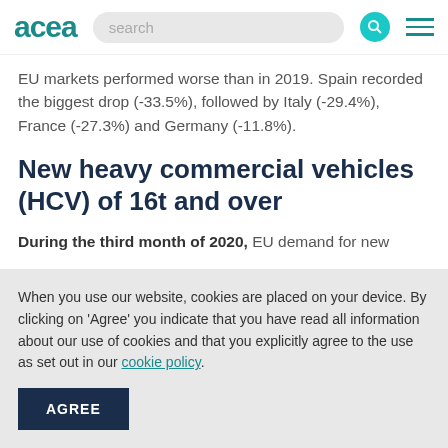acea
EU markets performed worse than in 2019. Spain recorded the biggest drop (-33.5%), followed by Italy (-29.4%), France (-27.3%) and Germany (-11.8%).
New heavy commercial vehicles (HCV) of 16t and over
During the third month of 2020, EU demand for new
When you use our website, cookies are placed on your device. By clicking on 'Agree' you indicate that you have read all information about our use of cookies and that you explicitly agree to the use as set out in our cookie policy.
AGREE